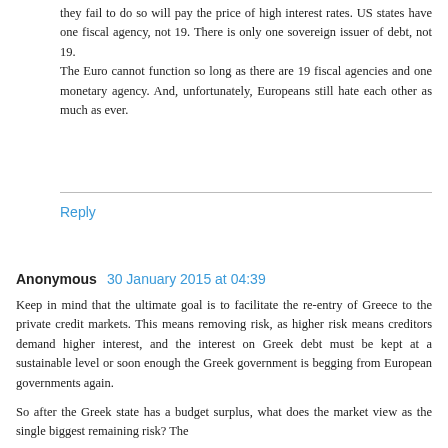they fail to do so will pay the price of high interest rates. US states have one fiscal agency, not 19. There is only one sovereign issuer of debt, not 19.
The Euro cannot function so long as there are 19 fiscal agencies and one monetary agency. And, unfortunately, Europeans still hate each other as much as ever.
Reply
Anonymous  30 January 2015 at 04:39
Keep in mind that the ultimate goal is to facilitate the re-entry of Greece to the private credit markets. This means removing risk, as higher risk means creditors demand higher interest, and the interest on Greek debt must be kept at a sustainable level or soon enough the Greek government is begging from European governments again.
So after the Greek state has a budget surplus, what does the market view as the single biggest remaining risk? The